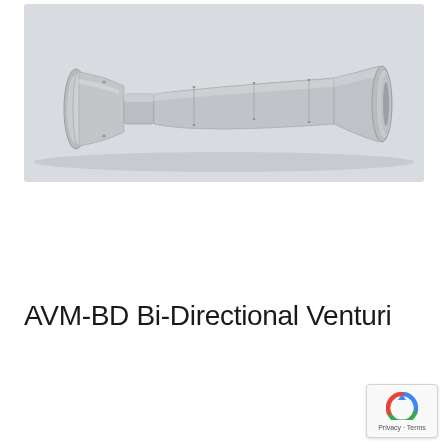[Figure (schematic): 3D CAD rendering of an AVM-BD Bi-Directional Venturi tube — a tapered cylindrical flow measurement device with flanged ends, showing a silvery-gray metallic finish on a light gray background.]
AVM-BD Bi-Directional Venturi